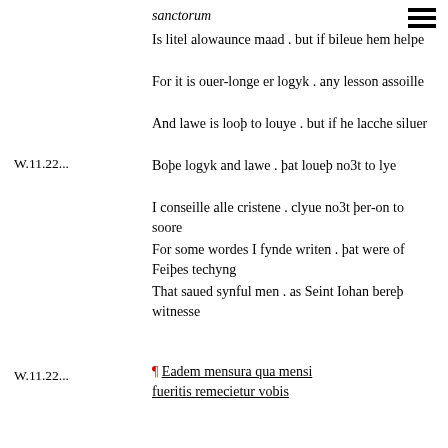sanctorum
Is litel alowaunce maad . but if bileue hem helpe
For it is ouer-longe er logyk . any lesson assoille
And lawe is looþ to louye . but if he lacche siluer
W.11.22...
Boþe logyk and lawe . þat loueþ no3t to lye
I conseille alle cristene . clyue no3t þer-on to soore
For some wordes I fynde writen . þat were of Feiþes techyng
That saued synful men . as Seint Iohan bereþ witnesse
W.11.22...
¶ Eadem mensura qua mensi fueritis remecietur vobis